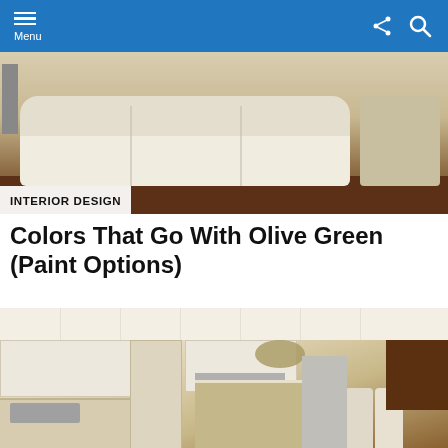Menu
[Figure (photo): Living room interior with a cream/beige tufted sofa and hardwood floors]
INTERIOR DESIGN
Colors That Go With Olive Green (Paint Options)
[Figure (photo): Bright modern kitchen with white cabinets, large island with bar stools, pendant lights, and dark wood accent wall with TV]